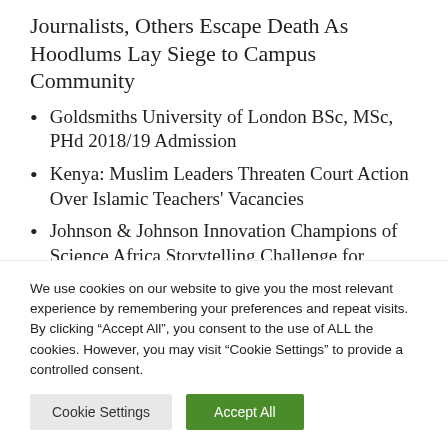Journalists, Others Escape Death As Hoodlums Lay Siege to Campus Community
Goldsmiths University of London BSc, MSc, PHd 2018/19 Admission
Kenya: Muslim Leaders Threaten Court Action Over Islamic Teachers' Vacancies
Johnson & Johnson Innovation Champions of Science Africa Storytelling Challenge for
We use cookies on our website to give you the most relevant experience by remembering your preferences and repeat visits. By clicking “Accept All”, you consent to the use of ALL the cookies. However, you may visit “Cookie Settings” to provide a controlled consent.